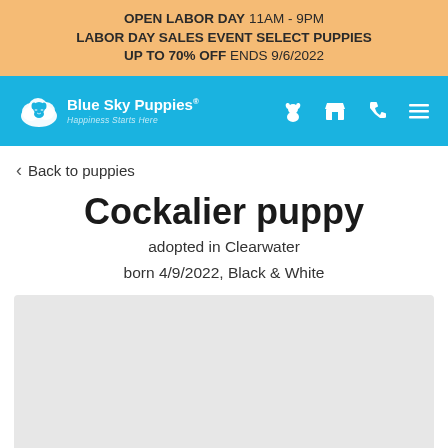OPEN LABOR DAY 11AM - 9PM LABOR DAY SALES EVENT SELECT PUPPIES UP TO 70% OFF ENDS 9/6/2022
[Figure (logo): Blue Sky Puppies logo with dog and cloud icon, white on blue background, tagline: Happiness Starts Here]
Back to puppies
Cockalier puppy
adopted in Clearwater
born 4/9/2022, Black & White
[Figure (photo): Light gray placeholder area for puppy photo]